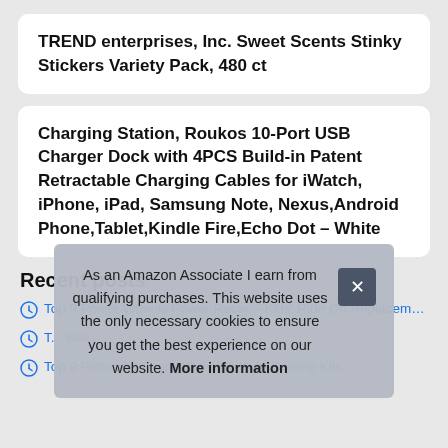TREND enterprises, Inc. Sweet Scents Stinky Stickers Variety Pack, 480 ct
Charging Station, Roukos 10-Port USB Charger Dock with 4PCS Build-in Patent Retractable Charging Cables for iWatch, iPhone, iPad, Samsung Note, Nexus,Android Phone,Tablet,Kindle Fire,Echo Dot – White
Recent posts
Top 9 Power Wheels Power Racer – Kids' Ride On Replacement Parts
T... Bea...
Top 9 Potholder Loom 10 Inch – Kids' Sewing Kits
As an Amazon Associate I earn from qualifying purchases. This website uses the only necessary cookies to ensure you get the best experience on our website. More information